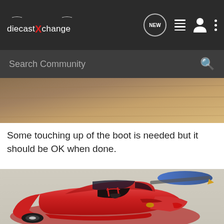diecastXchange — NEW | list | person | menu
Search Community
[Figure (photo): Partially visible wooden tabletop background — top of a diecast model car photo]
Some touching up of the boot is needed but it should be OK when done.
[Figure (photo): Red diecast model car (classic sports coupe, rear three-quarter view) on a light surface, with its roof panel removed, showing interior detail including red roll cage and black seats]